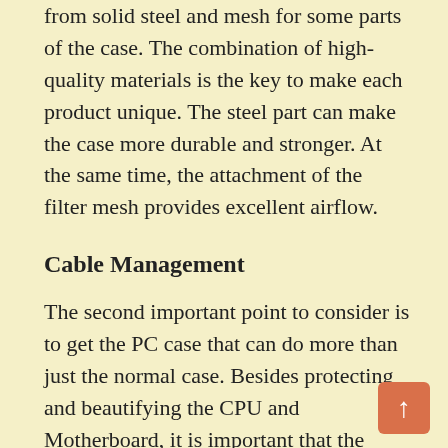from solid steel and mesh for some parts of the case. The combination of high-quality materials is the key to make each product unique. The steel part can make the case more durable and stronger. At the same time, the attachment of the filter mesh provides excellent airflow.
Cable Management
The second important point to consider is to get the PC case that can do more than just the normal case. Besides protecting and beautifying the CPU and Motherboard, it is important that the product can keep the cable well organized. When the cables are in the right order, we guarantee that you can connect it with other sources easily. More than this, it is the right way to keep the cable from tangling as